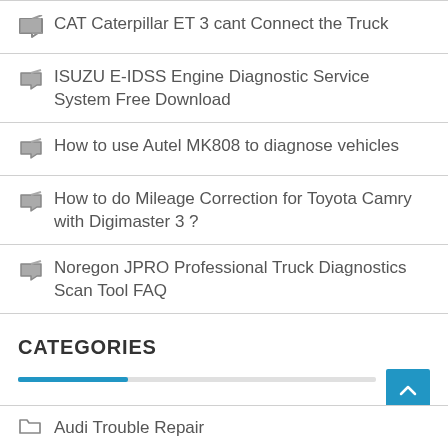CAT Caterpillar ET 3 cant Connect the Truck
ISUZU E-IDSS Engine Diagnostic Service System Free Download
How to use Autel MK808 to diagnose vehicles
How to do Mileage Correction for Toyota Camry with Digimaster 3 ?
Noregon JPRO Professional Truck Diagnostics Scan Tool FAQ
CATEGORIES
Audi Trouble Repair